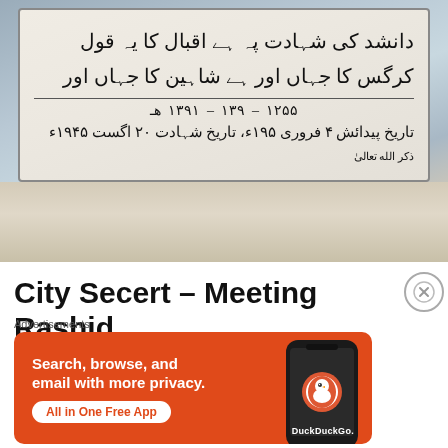[Figure (photo): Photograph of a marble plaque/gravestone with Urdu text inscription, set on a marble base. The plaque contains Urdu poetry and dates in Arabic numerals.]
City Secert – Meeting Rashid
Advertisements
[Figure (screenshot): DuckDuckGo advertisement banner with orange background. Text reads: Search, browse, and email with more privacy. All in One Free App. Shows a smartphone with DuckDuckGo logo.]